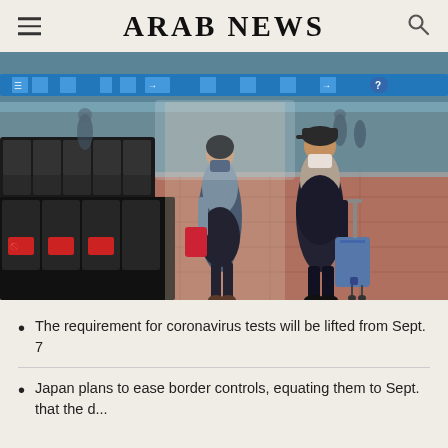ARAB NEWS
[Figure (photo): Two masked travelers walking through an airport terminal with rows of empty black seats on the left. A woman in a blue-grey turtleneck and dark skirt carries a red bag; a man in dark clothing pulls a blue suitcase. Blue wayfinding signs visible overhead.]
The requirement for coronavirus tests will be lifted from Sept. 7
Japan plans to ease border controls, equating them to Sept. that the d...